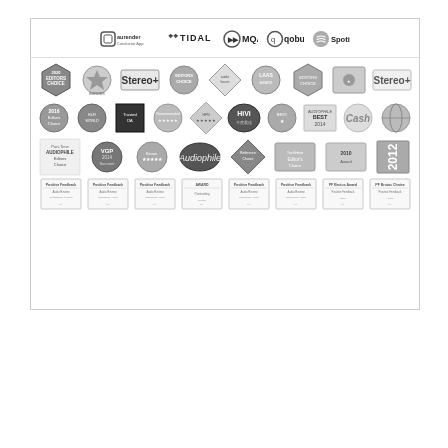[Figure (logo): Row of streaming/audio service logos: Aurender Conductor App, TIDAL, MQA, Qobuz, Spotify]
[Figure (illustration): Grid of audio equipment award badges and certificates from various publications including Stereo+, Editors Choice, LAAS, HiVi, Audiophile, VGP, Cash, and Positive Feedback certificates - four rows of award badges and one row of certificate documents]